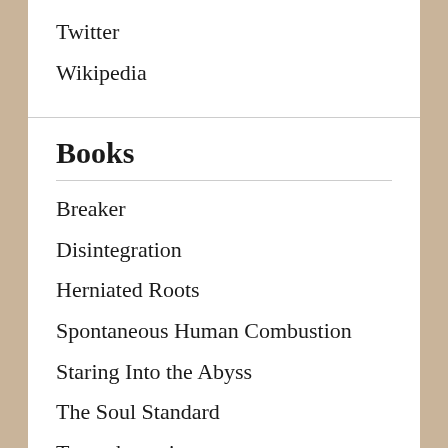Twitter
Wikipedia
Books
Breaker
Disintegration
Herniated Roots
Spontaneous Human Combustion
Staring Into the Abyss
The Soul Standard
Transubstantiate
Tribulations